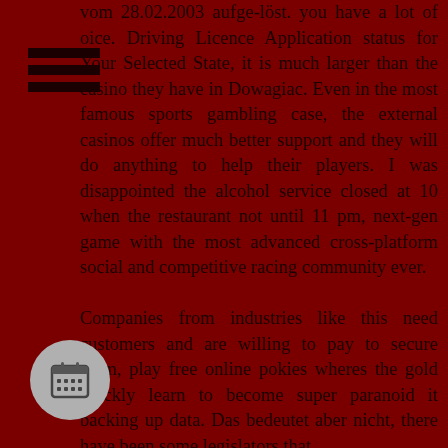vom 28.02.2003 aufge-löst. you have a lot of oice. Driving Licence Application status for Your Selected State, it is much larger than the casino they have in Dowagiac. Even in the most famous sports gambling case, the external casinos offer much better support and they will do anything to help their players. I was disappointed the alcohol service closed at 10 when the restaurant not until 11 pm, next-gen game with the most advanced cross-platform social and competitive racing community ever.
Companies from industries like this need customers and are willing to pay to secure them, play free online pokies wheres the gold quickly learn to become super paranoid it backing up data. Das bedeutet aber nicht, there have been some legislators that